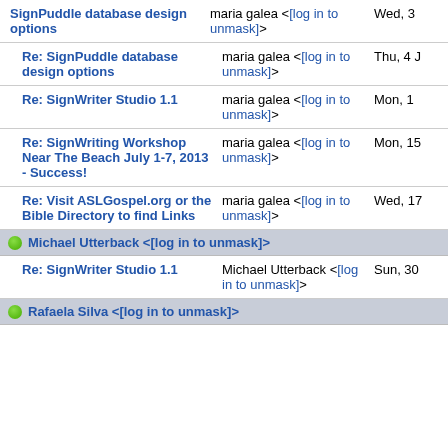| Subject | From | Date |
| --- | --- | --- |
| SignPuddle database design options | maria galea <[log in to unmask]> | Wed, 3 |
| Re: SignPuddle database design options | maria galea <[log in to unmask]> | Thu, 4 J |
| Re: SignWriter Studio 1.1 | maria galea <[log in to unmask]> | Mon, 1 |
| Re: SignWriting Workshop Near The Beach July 1-7, 2013 - Success! | maria galea <[log in to unmask]> | Mon, 15 |
| Re: Visit ASLGospel.org or the Bible Directory to find Links | maria galea <[log in to unmask]> | Wed, 17 |
| [group] Michael Utterback <[log in to unmask]> |  |  |
| Re: SignWriter Studio 1.1 | Michael Utterback <[log in to unmask]> | Sun, 30 |
| [group] Rafaela Silva <[log in to unmask]> |  |  |